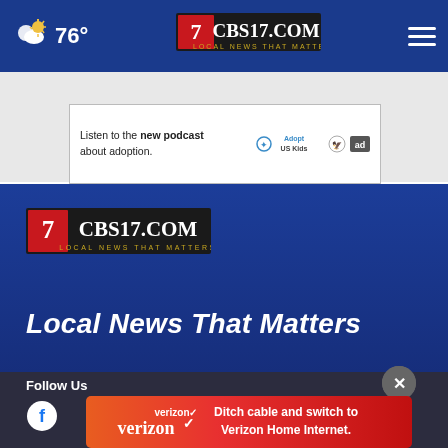76° CBS17.COM LOCAL NEWS THAT MATTERS
[Figure (screenshot): Ad banner: Listen to the new podcast about adoption. AdoptUSKids logo and 'ad' icon.]
[Figure (logo): CBS17.COM LOCAL NEWS THAT MATTERS footer logo]
Local News That Matters
Follow Us
[Figure (screenshot): Verizon ad: Ditch cable and switch to Verizon Home Internet.]